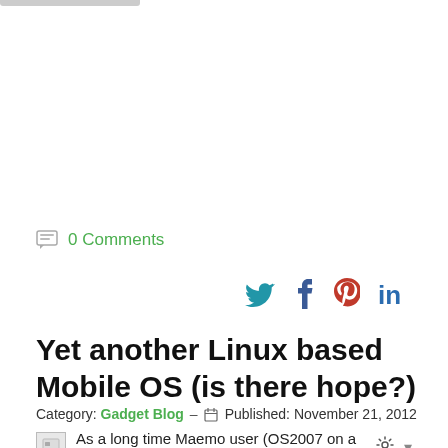0 Comments
[Figure (infographic): Social sharing icons: Twitter (bird), Facebook (f), Pinterest (P), LinkedIn (in)]
Yet another Linux based Mobile OS (is there hope?)
Category: Gadget Blog — Published: November 21, 2012
As a long time Maemo user (OS2007 on a Nokia